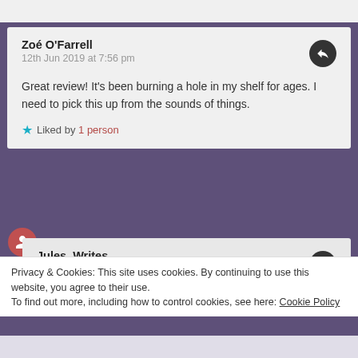Zoé O'Farrell
12th Jun 2019 at 7:56 pm
Great review! It's been burning a hole in my shelf for ages. I need to pick this up from the sounds of things.
Liked by 1 person
Jules_Writes
19th Jun 2019 at 12:09 pm
Privacy & Cookies: This site uses cookies. By continuing to use this website, you agree to their use. To find out more, including how to control cookies, see here: Cookie Policy
Close and accept